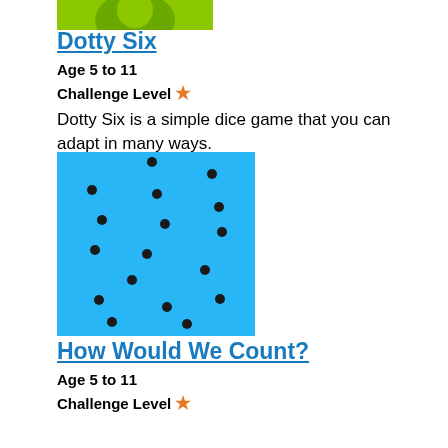[Figure (illustration): Green thumbnail image for Dotty Six]
Dotty Six
Age 5 to 11
Challenge Level ★
Dotty Six is a simple dice game that you can adapt in many ways.
[Figure (illustration): Blue square image with black dots arranged in a grid pattern representing the Dotty Six / How Would We Count activity]
How Would We Count?
Age 5 to 11
Challenge Level ★
An activity centred around observations of dots and how we visualise number arrangement patterns.
| 4 | 35 | 36 | 37 |
| --- | --- | --- | --- |
| 4 | 45 | 46 | 47 |
| 4 | 55 | 56 | 57 |
| 4 | 65 | 66 | 67 |
That Number Square!
Age 5 to 11